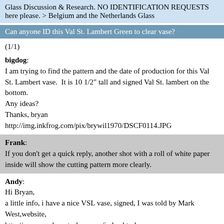Glass Discussion & Research. NO IDENTIFICATION REQUESTS here please. > Belgium and the Netherlands Glass
Can anyone ID this Val St. Lambert Green to clear vase?
(1/1)
bigdog: I am trying to find the pattern and the date of production for this Val St. Lambert vase.  It is 10 1/2" tall and signed Val St. lambert on the bottom. Any ideas? Thanks, bryan http://img.inkfrog.com/pix/brywil1970/DSCF0114.JPG
Frank: If you don't get a quick reply, another shot with a roll of white paper inside will show the cutting pattern more clearly.
Andy: Hi Bryan, a little info, i have a nice VSL vase, signed, I was told by Mark West,website, http://www.markwest-glass.com/index.html that pre 1950s the glass was not signed, but had a foil label, or